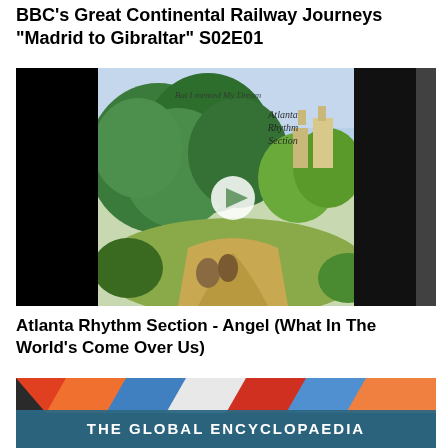BBC's Great Continental Railway Journeys "Madrid to Gibraltar" S02E01
[Figure (photo): Album art thumbnail for Atlanta Rhythm Section on a black background. The album cover shows a painted landscape with trees, a path, and castle-like buildings in background. White circular logo/play button overlay in center. A narrow vertical strip runs along the right side.]
Atlanta Rhythm Section - Angel (What In The World's Come Over Us)
[Figure (photo): Partial thumbnail showing colorful abstract pattern (blue, orange, red, white) at top portion, with a teal/steel-blue bar near bottom containing bold white text reading 'THE GLOBAL ENCYCLOPAEDIA'.]